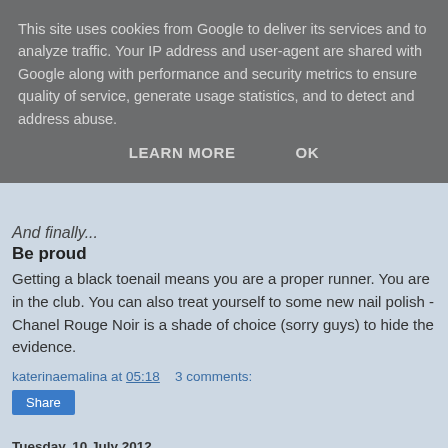This site uses cookies from Google to deliver its services and to analyze traffic. Your IP address and user-agent are shared with Google along with performance and security metrics to ensure quality of service, generate usage statistics, and to detect and address abuse.
LEARN MORE    OK
And finally...
Be proud
Getting a black toenail means you are a proper runner. You are in the club. You can also treat yourself to some new nail polish - Chanel Rouge Noir is a shade of choice (sorry guys) to hide the evidence.
katerinaemalina at 05:18    3 comments:
Share
Tuesday, 10 July 2012
Country versus city running: which do you